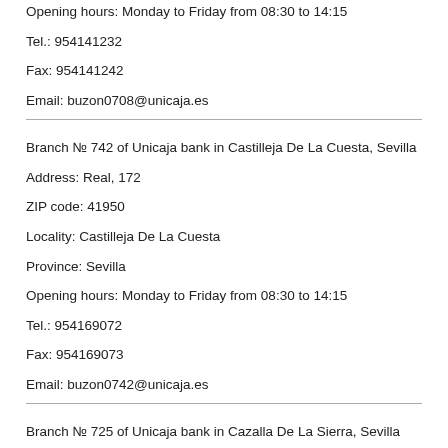Opening hours: Monday to Friday from 08:30 to 14:15
Tel.: 954141232
Fax: 954141242
Email: buzon0708@unicaja.es
Branch № 742 of Unicaja bank in Castilleja De La Cuesta, Sevilla
Address: Real, 172
ZIP code: 41950
Locality: Castilleja De La Cuesta
Province: Sevilla
Opening hours: Monday to Friday from 08:30 to 14:15
Tel.: 954169072
Fax: 954169073
Email: buzon0742@unicaja.es
Branch № 725 of Unicaja bank in Cazalla De La Sierra, Sevilla
Address: Llana, 18
ZIP code: 41370
Locality: Cazalla De La Sierra
Province: Sevilla